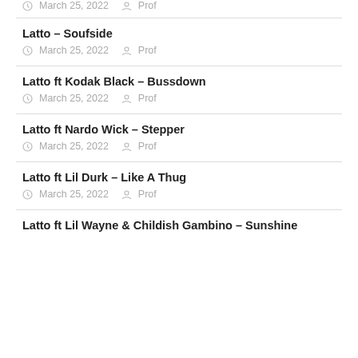March 25, 2022  Prof
Latto – Soufside
March 25, 2022  Prof
Latto ft Kodak Black – Bussdown
March 25, 2022  Prof
Latto ft Nardo Wick – Stepper
March 25, 2022  Prof
Latto ft Lil Durk – Like A Thug
March 25, 2022  Prof
Latto ft Lil Wayne & Childish Gambino – Sunshine